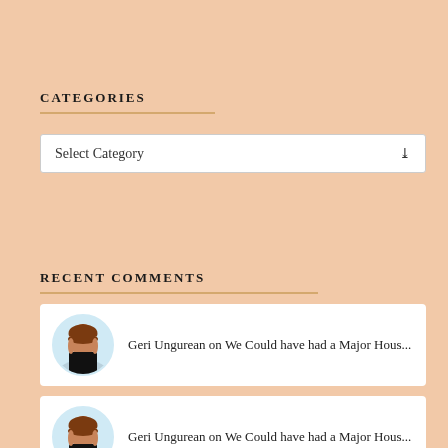CATEGORIES
Select Category
RECENT COMMENTS
Geri Ungurean on We Could have had a Major Hous...
Geri Ungurean on We Could have had a Major Hous...
Yvonne Renee Knicker... on We Could have had a Major Hous...